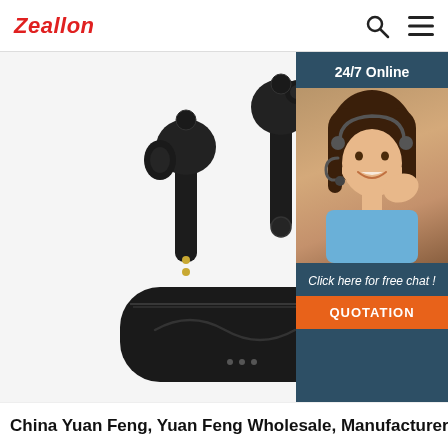Zeallon
[Figure (photo): Black wireless TWS earbuds with charging case, displayed with both earpieces inserted into an open matte-black carrying case]
[Figure (infographic): Customer service chat widget overlay: '24/7 Online' header, photo of female customer service agent wearing headset, 'Click here for free chat!' text, orange QUOTATION button]
China Yuan Feng, Yuan Feng Wholesale, Manufacturers,